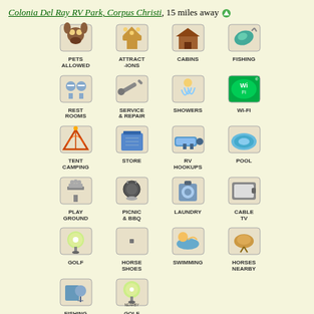Colonia Del Ray RV Park, Corpus Christi, 15 miles away
[Figure (infographic): Grid of amenity icons for Colonia Del Ray RV Park: Pets Allowed, Attractions, Cabins, Fishing, Rest Rooms, Service & Repair, Showers, Wi-Fi, Tent Camping, Store, RV Hookups, Pool, Playground, Picnic & BBQ, Laundry, Cable TV, Golf, Horse Shoes, Swimming, Horses Nearby, Fishing Trips Nearby, Golf Nearby]
Padre Palms RV Park, Corpus Christi, 14 miles away
[Figure (infographic): Grid of amenity icons for Padre Palms RV Park: Picnic & BBQ, Fishing, Attractions, Cable TV, Laundry, Pool, Rest Rooms, RV Hookups, Service & Repair, Showers, Tent Camping, Shuffle Board, Golf, Swimming, Horses Nearby, Fishing Trips Nearby, Golf Nearby]
Marina Village RV and Mobile Home, Corpus Christi, 15 miles away
[Figure (infographic): Grid of amenity icons for Marina Village RV and Mobile Home: Pets Allowed, Attractions, Boating, Cable TV, Fishing]